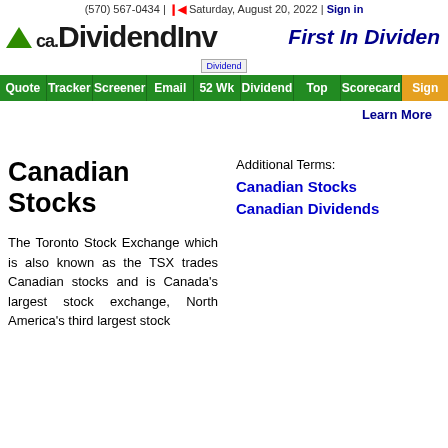(570) 567-0434 | 🍁 Saturday, August 20, 2022 | Sign in
ca.DividendInv   First In Dividen
[Figure (logo): Dividend image/logo placeholder]
Quote | Tracker | Screener | Email | 52 Wk | Dividend | Top | Scorecard | Sign
Learn More
Canadian Stocks
Additional Terms:
Canadian Stocks
Canadian Dividends
The Toronto Stock Exchange which is also known as the TSX trades Canadian stocks and is Canada's largest stock exchange, North America's third largest stock